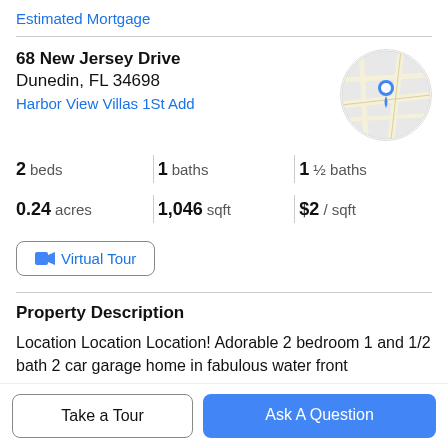Estimated Mortgage
68 New Jersey Drive
Dunedin, FL 34698
Harbor View Villas 1St Add
[Figure (map): Circular cropped Google Maps view showing a location pin on a street map]
2 beds | 1 baths | 1 ½ baths
0.24 acres | 1,046 sqft | $2 / sqft
Virtual Tour
Property Description
Location Location Location! Adorable 2 bedroom 1 and 1/2 bath 2 car garage home in fabulous water front
property in very close proximity to honeymoon island
Take a Tour
Ask A Question